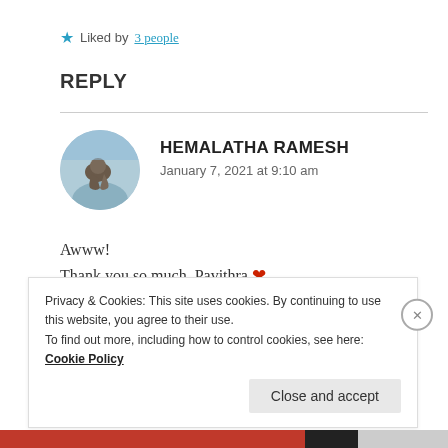★ Liked by 3 people
REPLY
[Figure (photo): Circular avatar photo of Hemalatha Ramesh showing a bird against a blue sky background]
HEMALATHA RAMESH
January 7, 2021 at 9:10 am
Awww!
Thank you so much, Pavithra ❤
Privacy & Cookies: This site uses cookies. By continuing to use this website, you agree to their use.
To find out more, including how to control cookies, see here: Cookie Policy
Close and accept